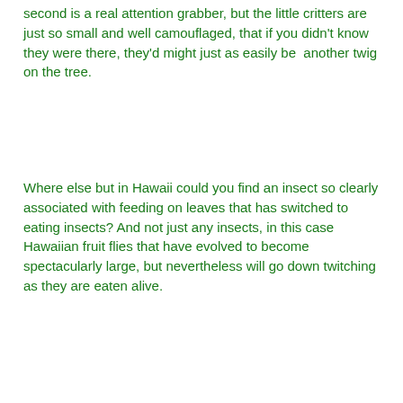second is a real attention grabber, but the little critters are just so small and well camouflaged, that if you didn't know they were there, they'd might just as easily be another twig on the tree.
Where else but in Hawaii could you find an insect so clearly associated with feeding on leaves that has switched to eating insects? And not just any insects, in this case Hawaiian fruit flies that have evolved to become spectacularly large, but nevertheless will go down twitching as they are eaten alive.